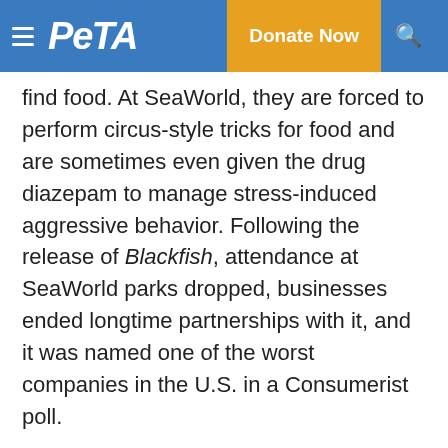PETA | Donate Now
find food. At SeaWorld, they are forced to perform circus-style tricks for food and are sometimes even given the drug diazepam to manage stress-induced aggressive behavior. Following the release of Blackfish, attendance at SeaWorld parks dropped, businesses ended longtime partnerships with it, and it was named one of the worst companies in the U.S. in a Consumerist poll.
GET PETA UPDATES
Text ROCKY to 73822 to urge officials to allow Rocky a lone coyote, who is pacing in apparent distress in a tiny cage, to move to an accredited sanctuary.
Terms for automated texts/calls from PETA: http://peta.vg/txt. Text STOP to end, HELP for more info. Msg/data rates may apply. U.S. only.